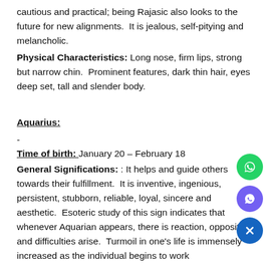cautious and practical; being Rajasic also looks to the future for new alignments.  It is jealous, self-pitying and melancholic.
Physical Characteristics: Long nose, firm lips, strong but narrow chin.  Prominent features, dark thin hair, eyes deep set, tall and slender body.
Aquarius:
-
Time of birth:  January 20 – February 18
General Significations: : It helps and guide others towards their fulfillment.  It is inventive, ingenious, persistent, stubborn, reliable, loyal, sincere and aesthetic.  Esoteric study of this sign indicates that whenever Aquarian appears, there is reaction, opposition and difficulties arise.  Turmoil in one's life is immensely increased as the individual begins to work